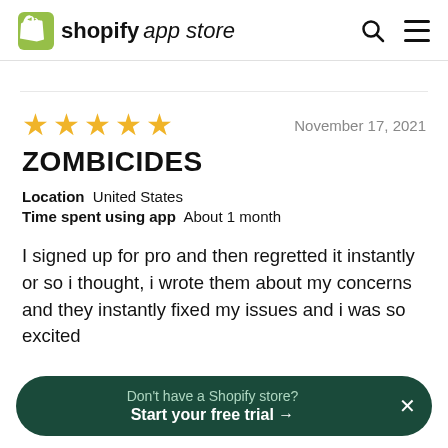shopify app store
[Figure (other): Five gold star rating]
November 17, 2021
ZOMBICIDES
Location  United States
Time spent using app  About 1 month
I signed up for pro and then regretted it instantly or so i thought, i wrote them about my concerns and they instantly fixed my issues and i was so excited
Don't have a Shopify store? Start your free trial →